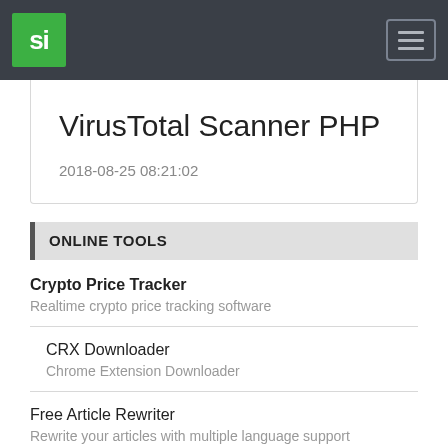si  [hamburger menu]
VirusTotal Scanner PHP
2018-08-25 08:21:02
ONLINE TOOLS
Crypto Price Tracker
Realtime crypto price tracking software
CRX Downloader
Chrome Extension Downloader
Free Article Rewriter
Rewrite your articles with multiple language support
Facebook Profile Picture Maker
Create facebook profile picture rather easily